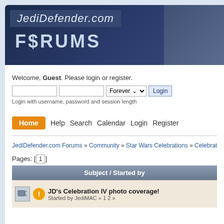[Figure (screenshot): JediDefender.com Forums banner with dark blue background, site name in italic text and FORUMS in large block letters, robot figure on right]
Welcome, Guest. Please login or register.
Login with username, password and session length
Home  Help  Search  Calendar  Login  Register
JediDefender.com Forums » Community » Star Wars Celebrations » Celebration IV: Los
Pages: [1]
| Subject / Started by |
| --- |
| JD's Celebration IV photo coverage!
Started by JediMAC « 1 2 » |
Started by JediMAC « 1 2 »